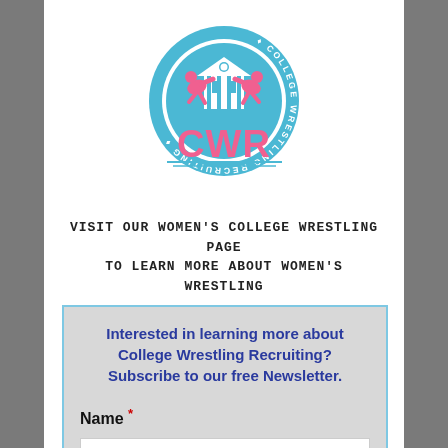[Figure (logo): College Wrestling Recruiting (CWR) circular logo with blue background, two wrestlers silhouettes, building in center, text 'COLLEGE WRESTLING RECRUITING' around the circle, and large pink 'CWR' lettering below]
Visit our Women's College Wrestling page to learn more about Women's Wrestling
Interested in learning more about College Wrestling Recruiting? Subscribe to our free Newsletter.
Name *